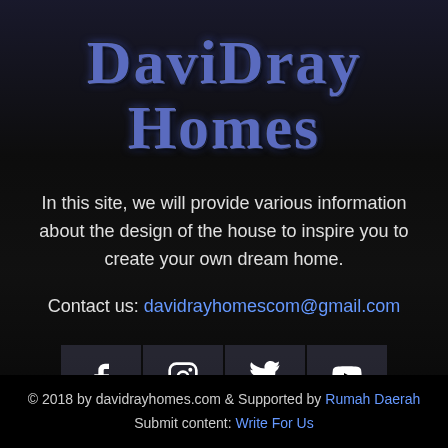DaviDray Homes
In this site, we will provide various information about the design of the house to inspire you to create your own dream home.
Contact us: davidrayhomescom@gmail.com
[Figure (infographic): Social media icons row: Facebook, Instagram, Twitter, YouTube]
© 2018 by davidrayhomes.com & Supported by Rumah Daerah Submit content: Write For Us